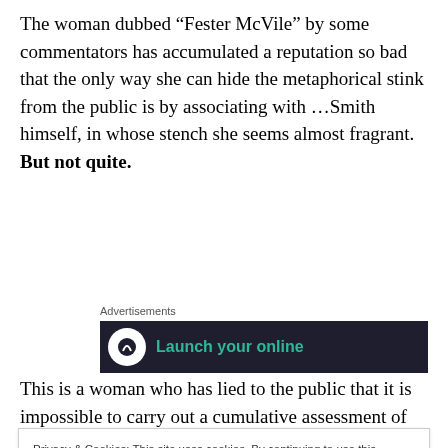The woman dubbed “Fester McVile” by some commentators has accumulated a reputation so bad that the only way she can hide the metaphorical stink from the public is by associating with …Smith himself, in whose stench she seems almost fragrant. But not quite.
[Figure (infographic): Advertisements banner with dark background showing 'Launch your online' text in teal on dark background with circular white icon]
This is a woman who has lied to the public that it is impossible to carry out a cumulative assessment of the
Privacy & Cookies: This site uses cookies. By continuing to use this website, you agree to their use.
To find out more, including how to control cookies, see here: Cookie Policy